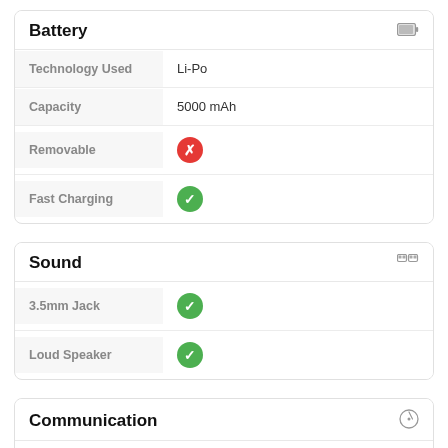Battery
| Property | Value |
| --- | --- |
| Technology Used | Li-Po |
| Capacity | 5000 mAh |
| Removable | No (red X) |
| Fast Charging | Yes (green check) |
Sound
| Property | Value |
| --- | --- |
| 3.5mm Jack | Yes (green check) |
| Loud Speaker | Yes (green check) |
Communication
| Property | Value |
| --- | --- |
| WLAN | Wi-Fi 802.11 b/g/n, Wi-Fi Direct, |